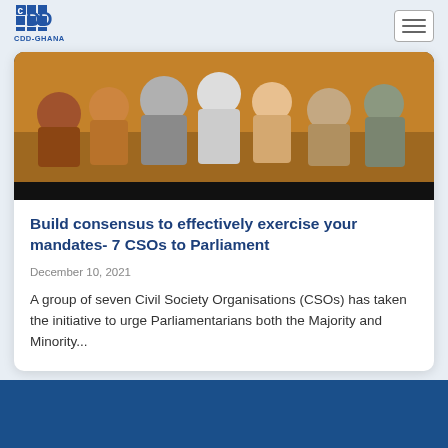[Figure (logo): CDD-Ghana logo with blue grid/building icon and text CDD-GHANA]
[Figure (photo): Group of people seated at a parliamentary or formal meeting, viewed from behind/above]
Build consensus to effectively exercise your mandates- 7 CSOs to Parliament
December 10, 2021
A group of seven Civil Society Organisations (CSOs) has taken the initiative to urge Parliamentarians both the Majority and Minority...